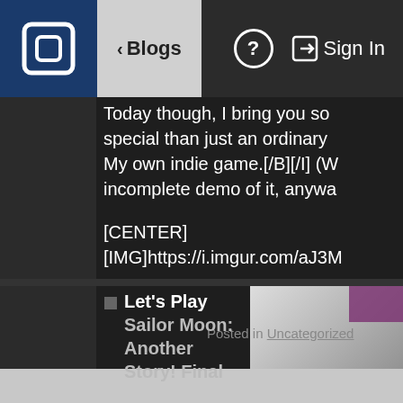< Blogs   ? →] Sign In
from my cousin for free (he ju it) and managed to continue a without much of a hassle.
Today though, I bring you so special than just an ordinary My own indie game.[/B][/I] (W incomplete demo of it, anywa
[CENTER] [IMG]https://i.imgur.com/aJ3M
Posted in Uncategorized
Let's Play Sailor Moon: Another Story! Final